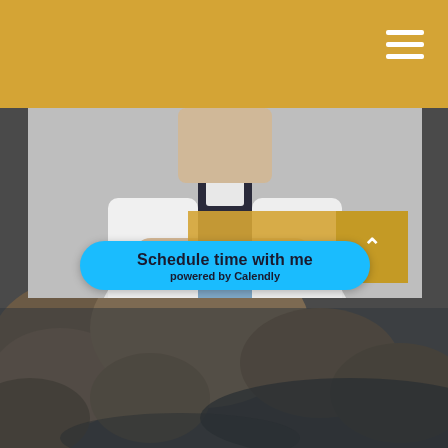[Figure (photo): Gold navigation header bar with hamburger menu icon (three white horizontal lines) in upper right corner]
[Figure (photo): Photo of a person in a white coat and blue shirt with arms crossed, upper body visible]
[Figure (photo): Background photo of rocks in a body of water, dark moody tones]
Our Team
Our business is built on a foundation of thoughtful client relationships.
[Figure (other): Gold rectangular block partially visible at bottom left, Calendly schedule button overlay in light blue]
[Figure (other): Small gold square with white up-arrow at bottom right corner]